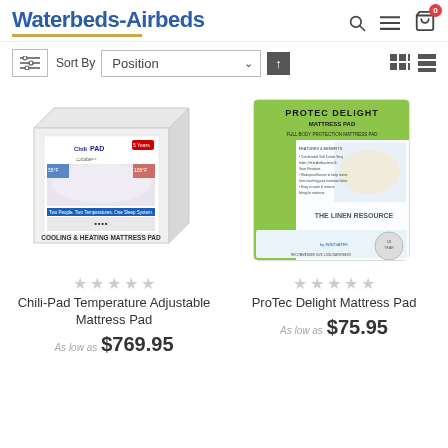Waterbeds-Airbeds
Sort By Position
[Figure (photo): ChiliPad Cube cooling and heating mattress pad product box image]
[Figure (photo): ProTec Delight Mattress Pad product packaging image by Innovatek, The Linen Resource]
Chili-Pad Temperature Adjustable Mattress Pad
As low as $769.95
ProTec Delight Mattress Pad
As low as $75.95